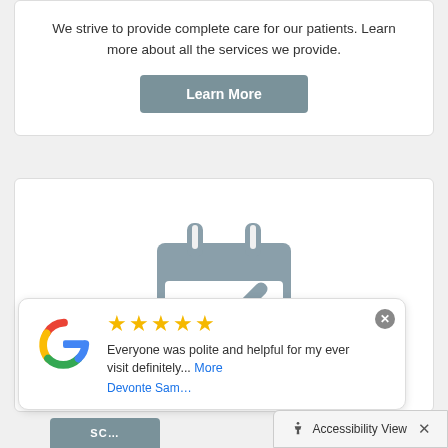We strive to provide complete care for our patients. Learn more about all the services we provide.
[Figure (other): Learn More button - teal/grey rounded rectangle button with white bold text]
[Figure (illustration): Calendar icon with checkmark inside, in slate grey color, on white background]
[Figure (logo): Google 'G' logo in multicolor (red, yellow, green, blue)]
Everyone was polite and helpful for my ever visit definitely... More
Devonte Sam...
Accessibility View